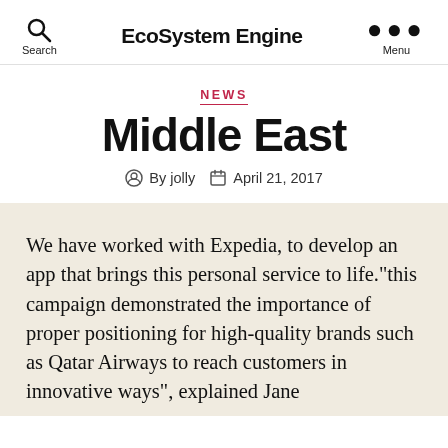EcoSystem Engine
NEWS
Middle East
By jolly   April 21, 2017
We have worked with Expedia, to develop an app that brings this personal service to life.”this campaign demonstrated the importance of proper positioning for high-quality brands such as Qatar Airways to reach customers in innovative ways”, explained Jane